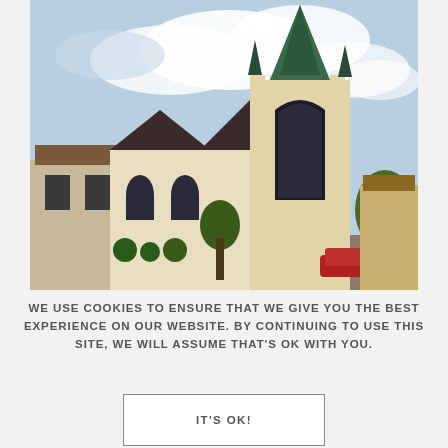[Figure (photo): Exterior photograph of a Gothic-style white church with a tall green copper steeple, multiple spires, and arched windows, set against a partly cloudy sky with trees and neighboring buildings visible.]
WE USE COOKIES TO ENSURE THAT WE GIVE YOU THE BEST EXPERIENCE ON OUR WEBSITE. BY CONTINUING TO USE THIS SITE, WE WILL ASSUME THAT'S OK WITH YOU.
IT'S OK!